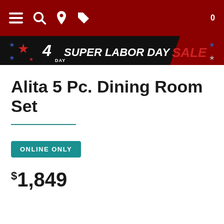Navigation bar with menu, search, location, tag icons and cart counter 0
[Figure (infographic): 4 Day Super Labor Day Sale promotional banner on black background with red, white, and blue stars]
Alita 5 Pc. Dining Room Set
ONLINE ONLY
$1,849